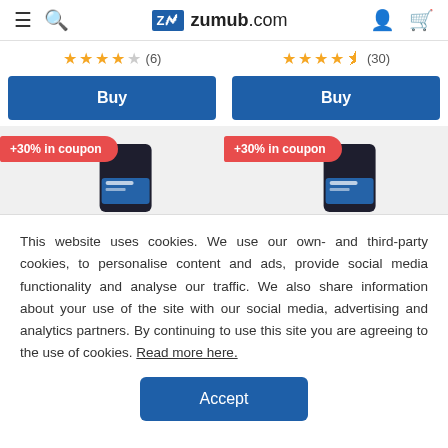zumub.com
★★★★☆ (6)
★★★★½ (30)
Buy
Buy
+30% in coupon
+30% in coupon
[Figure (photo): Dark supplement bottle with blue label]
[Figure (photo): Dark supplement bottle with blue label]
This website uses cookies. We use our own- and third-party cookies, to personalise content and ads, provide social media functionality and analyse our traffic. We also share information about your use of the site with our social media, advertising and analytics partners. By continuing to use this site you are agreeing to the use of cookies. Read more here.
Accept